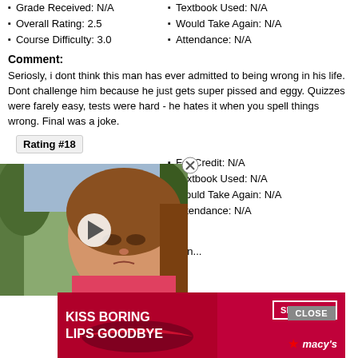Grade Received: N/A
Textbook Used: N/A
Overall Rating: 2.5
Would Take Again: N/A
Course Difficulty: 3.0
Attendance: N/A
Comment:
Seriosly, i dont think this man has ever admitted to being wrong in his life. Dont challenge him because he just gets super pissed and eggy. Quizzes were farely easy, tests were hard - he hates it when you spell things wrong. Final was a joke.
Rating #18
For Credit: N/A
Textbook Used: N/A
Overall Rating: 1.0
Would Take Again: N/A
Course Difficulty: 3.0
Attendance: N/A
Comment:
quizzes... tests. the man h... about. he n...
[Figure (screenshot): Video thumbnail overlay showing a young girl with a play button, overlaying the page content]
[Figure (screenshot): Advertisement overlay for Macy's with text 'KISS BORING LIPS GOODBYE' and a SHOP NOW button]